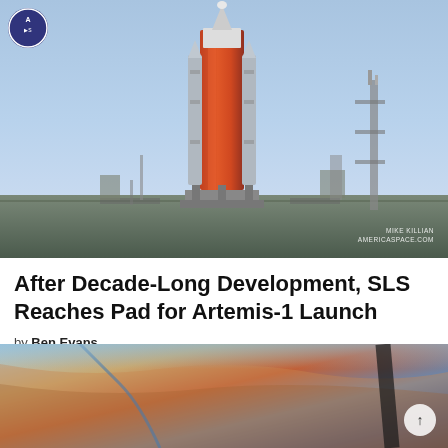[Figure (photo): NASA SLS (Space Launch System) rocket on launch pad, photographed by Mike Killian for AmericaSpace.com. Rocket with orange core stage stands tall on pad against light blue sky.]
After Decade-Long Development, SLS Reaches Pad for Artemis-1 Launch
by Ben Evans
11 days ago
[Figure (photo): Aerial or orbital photograph showing Earth's surface from space or high altitude, with curved horizon visible and terrain below.]